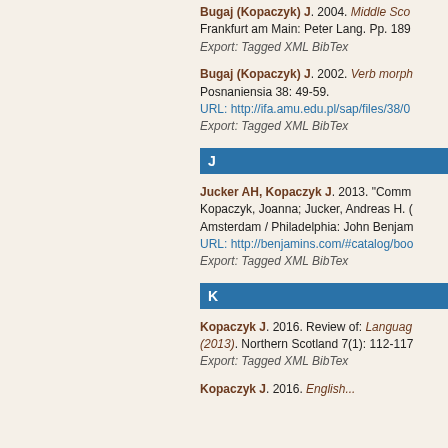Bugaj (Kopaczyk) J. 2004. Middle Sco... Frankfurt am Main: Peter Lang. Pp. 189
Export: Tagged XML BibTex
Bugaj (Kopaczyk) J. 2002. Verb morph...
Posnaniensia 38: 49-59.
URL: http://ifa.amu.edu.pl/sap/files/38/0
Export: Tagged XML BibTex
J
Jucker AH, Kopaczyk J. 2013. "Comm...
Kopaczyk, Joanna; Jucker, Andreas H. (...
Amsterdam / Philadelphia: John Benjam...
URL: http://benjamins.com/#catalog/boo
Export: Tagged XML BibTex
K
Kopaczyk J. 2016. Review of: Languag... (2013). Northern Scotland 7(1): 112-117...
Export: Tagged XML BibTex
Kopaczyk J. 2016. English...